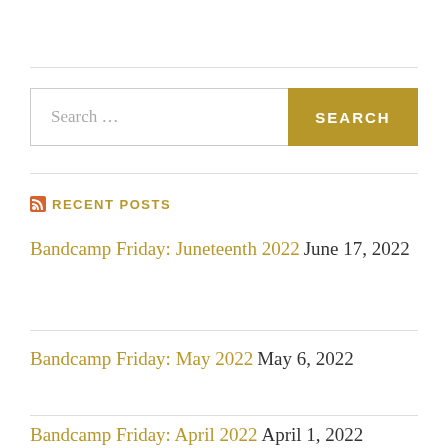[Figure (other): Search bar with text input 'Search ...' and a gold/yellow 'SEARCH' button]
RECENT POSTS
Bandcamp Friday: Juneteenth 2022 June 17, 2022
Bandcamp Friday: May 2022 May 6, 2022
Bandcamp Friday: April 2022 April 1, 2022